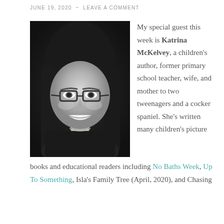JUNE 19, 2020 ~ LEAVE A COMMENT
[Figure (photo): Black and white portrait photo of a smiling woman with long dark hair and glasses, wearing a necklace.]
My special guest this week is Katrina McKelvey, a children's author, former primary school teacher, wife, and mother to two tweenagers and a cocker spaniel. She's written many children's picture books and educational readers including No Baths Week, Up To Something, Isla's Family Tree (April, 2020), and Chasing